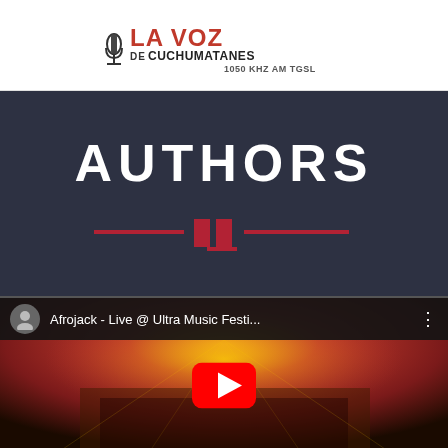[Figure (logo): La Voz de los Cuchumatanes radio station logo with microphone icon, text reads LA VOZ DE CUCHUMATANES 1050 KHZ AM TGSL]
AUTHORS
[Figure (illustration): Decorative red and dark divider ornament with horizontal lines and vertical rectangular bars in center]
[Figure (screenshot): YouTube video embed showing Afrojack - Live @ Ultra Music Festi... with concert stage lighting in red/orange tones and YouTube play button overlay]